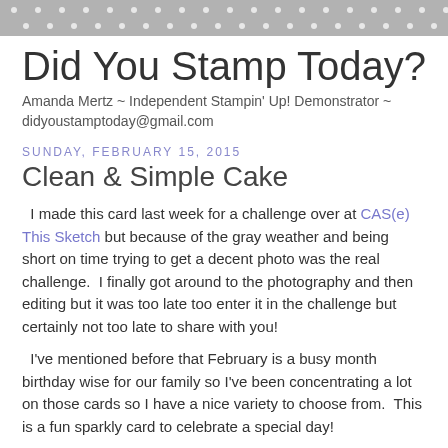[Figure (other): Gray decorative header bar with white polka dots pattern]
Did You Stamp Today?
Amanda Mertz ~ Independent Stampin' Up! Demonstrator ~ didyoustamptoday@gmail.com
Sunday, February 15, 2015
Clean & Simple Cake
I made this card last week for a challenge over at CAS(e) This Sketch but because of the gray weather and being short on time trying to get a decent photo was the real challenge.  I finally got around to the photography and then editing but it was too late too enter it in the challenge but certainly not too late to share with you!
I've mentioned before that February is a busy month birthday wise for our family so I've been concentrating a lot on those cards so I have a nice variety to choose from.  This is a fun sparkly card to celebrate a special day!